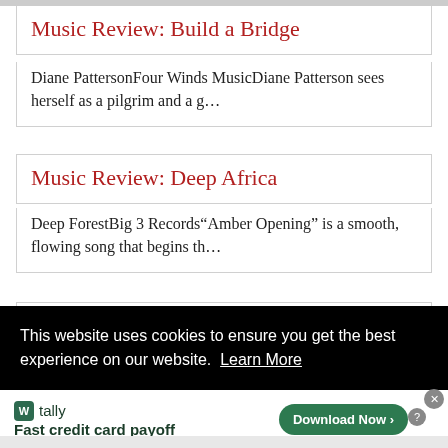Music Review: Build a Bridge
Diane PattersonFour Winds MusicDiane Patterson sees herself as a pilgrim and a g…
Music Review: Deep Africa
Deep ForestBig 3 Records“Amber Opening” is a smooth, flowing song that begins th…
Music Review: Charity - Songs of
This website uses cookies to ensure you get the best experience on our website. Learn More
[Figure (infographic): Tally app advertisement: Fast credit card payoff, with Download Now button]